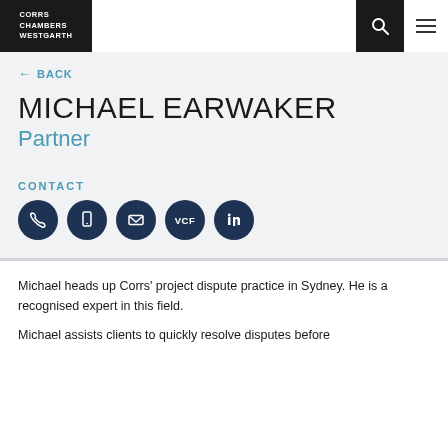CORRS CHAMBERS WESTGARTH
← BACK
MICHAEL EARWAKER
Partner
CONTACT
[Figure (other): Five dark navy circular icon buttons: phone, mobile, email, VCF, LinkedIn]
Michael heads up Corrs' project dispute practice in Sydney. He is a recognised expert in this field.
Michael assists clients to quickly resolve disputes before